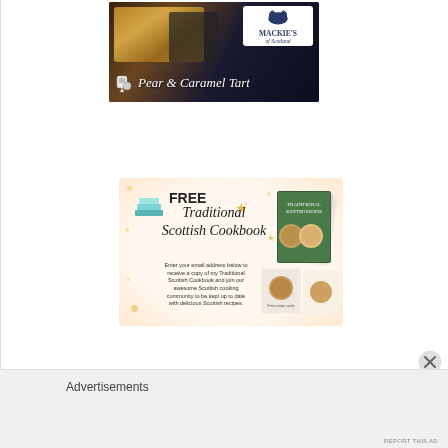[Figure (illustration): Mackie's of Scotland advertisement for Pear & Caramel Tart featuring a food photograph with dark background, Mackie's logo with cow illustration in white box, kitchen mixer icon, and cursive text 'Pear & Caramel Tart']
[Figure (infographic): Free Traditional Scottish Cookbook promotional banner with script title text, 'FREE' bold heading, description text about entering email address to receive cookbook, decorative stars and dots, stack of books icon, and fanned cookbook cover images on the right side]
Advertisements
REPORT THIS AD